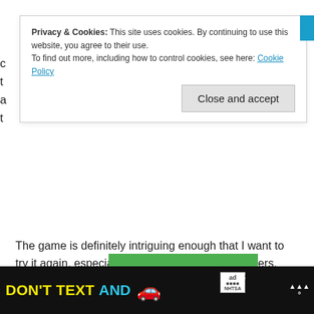Privacy & Cookies: This site uses cookies. By continuing to use this website, you agree to their use.
To find out more, including how to control cookies, see here: Cookie Policy
Close and accept
The game is definitely intriguing enough that I want to try it again, especially trying out different characters, and see how different strategies will play out. I think it's also a game that will change depending on your opponents: if you've got a bunch of conflict-shy players, you'll do more raiding and trading and less attacking; with more aggressive players, expect a lot of attacks and “take that” incident cards.
For more about Raid & Trade, visit the Kickstarter page.
[Figure (other): Advertisement banner at bottom: black background with yellow 'DON'T TEXT' and cyan 'AND' text, red car emoji, ad label box, NHTSA logo, and weather icon]